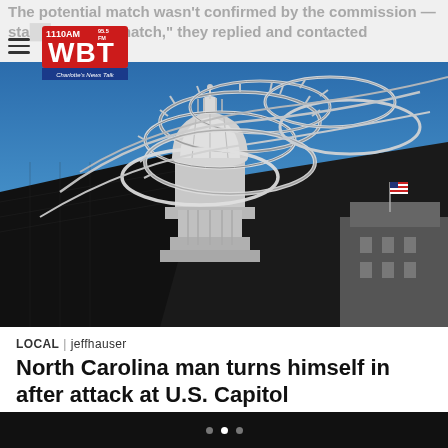The potential match wasn't confirmed by the commission — stating 'are not a match,' they replied and contacted
[Figure (photo): US Capitol building dome visible behind razor wire / concertina wire fence with an American flag in the background and a clear blue sky]
LOCAL | jeffhauser
North Carolina man turns himself in after attack at U.S. Capitol
Horn's Facebook account showed several statements about being in the Capitol on Jan. 6 during the attack in Washington D.C. and